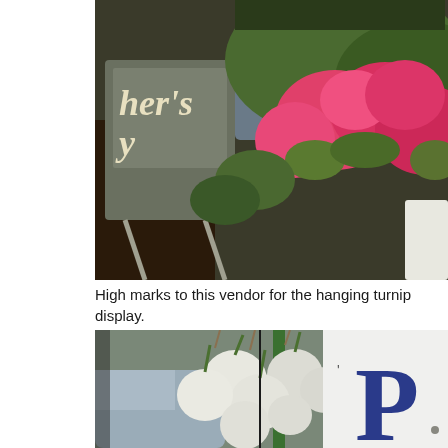[Figure (photo): Photo of a vendor display with a chalkboard sign reading 'her's y' (Mother's Day, partially visible), pink flowers/geraniums in bloom, green foliage, and a person in a blue-gray top arranging plants at an outdoor market.]
High marks to this vendor for the hanging turnip display.
[Figure (photo): Photo of hanging white turnips/radishes bunched together at a market vendor stand, with a green pole and a white sign partially showing a large blue letter 'P' on the right side.]